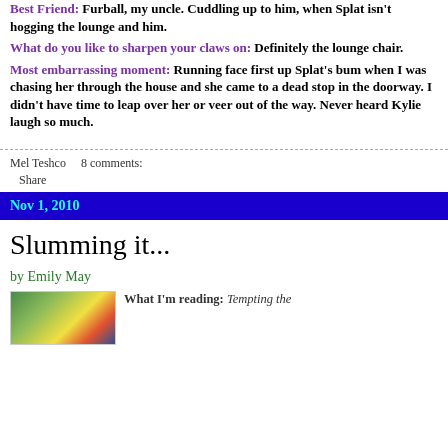Best Friend: Furball, my uncle. Cuddling up to him, when Splat isn't hogging the lounge and him.
What do you like to sharpen your claws on: Definitely the lounge chair.
Most embarrassing moment: Running face first up Splat's bum when I was chasing her through the house and she came to a dead stop in the doorway. I didn't have time to leap over her or veer out of the way. Never heard Kylie laugh so much.
Mel Teshco     8 comments:
Share
Nov 1, 2010
Slumming it...
by Emily May
What I'm reading: Tempting the